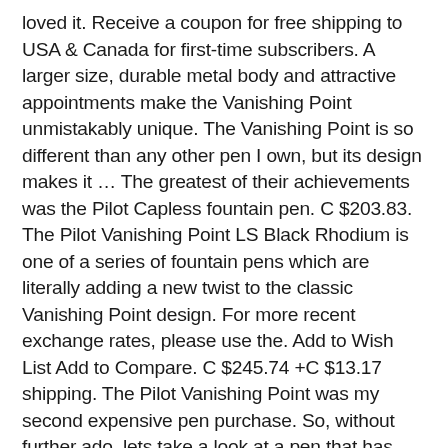loved it. Receive a coupon for free shipping to USA & Canada for first-time subscribers. A larger size, durable metal body and attractive appointments make the Vanishing Point unmistakably unique. The Vanishing Point is so different than any other pen I own, but its design makes it … The greatest of their achievements was the Pilot Capless fountain pen. C $203.83. The Pilot Vanishing Point LS Black Rhodium is one of a series of fountain pens which are literally adding a new twist to the classic Vanishing Point design. For more recent exchange rates, please use the. Add to Wish List Add to Compare. C $245.74 +C $13.17 shipping. The Pilot Vanishing Point was my second expensive pen purchase. So, without further ado, lets take a look at a pen that has caused me all sort of joys and worries. Pilot Vanishing Point Fountain Pen in Black Links – 18K Gold Medium Point –2020 $269.95 +$8.00 shipping. Make Offer – PILOT 18K … The utility of the pen cannot be understated. Whether or not the nib/tip can retract into the body of the pen (usually for click or twist-open style pens). Franz: The Pilot Vanishing Point pen is a great pen to have in one's pen case. This review has taken me so long to write because boy do I love this pen, and boy do I hate this pen. Write smooth lines with the retractable 14k gold nib